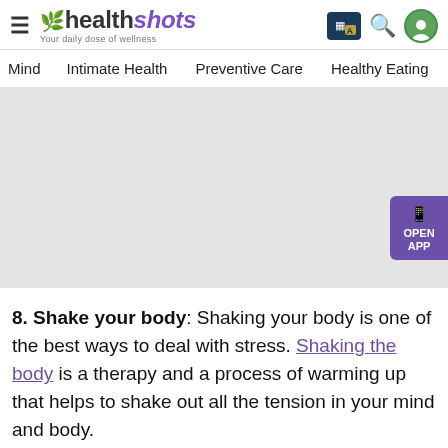healthshots — Your daily dose of wellness
Mind | Intimate Health | Preventive Care | Healthy Eating | Fit…
[Figure (photo): Large grey placeholder image for article content. An 'OPEN APP' button is visible on the right side.]
8. Shake your body: Shaking your body is one of the best ways to deal with stress. Shaking the body is a therapy and a process of warming up that helps to shake out all the tension in your mind and body.